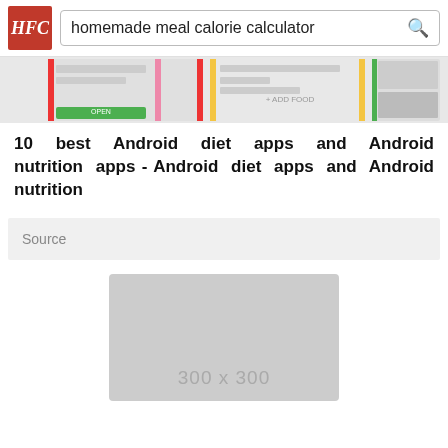homemade meal calorie calculator
[Figure (screenshot): Strip of app screenshot thumbnails showing Android diet/nutrition app interfaces]
10 best Android diet apps and Android nutrition apps - Android diet apps and Android nutrition
Source
[Figure (photo): Gray placeholder image box showing 300 x 300]